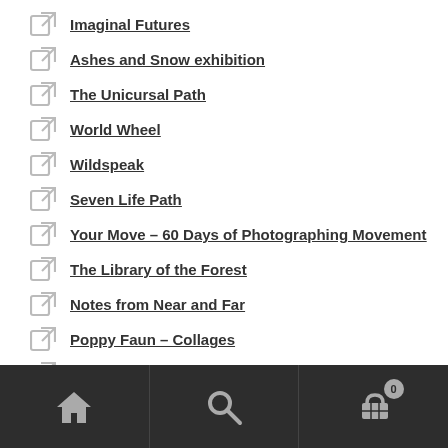Imaginal Futures
Ashes and Snow exhibition
The Unicursal Path
World Wheel
Wildspeak
Seven Life Path
Your Move – 60 Days of Photographing Movement
The Library of the Forest
Notes from Near and Far
Poppy Faun – Collages
Sarah Eddy Art
[Figure (screenshot): Mobile app bottom navigation bar with home, search, and cart (0 items) icons on dark background]